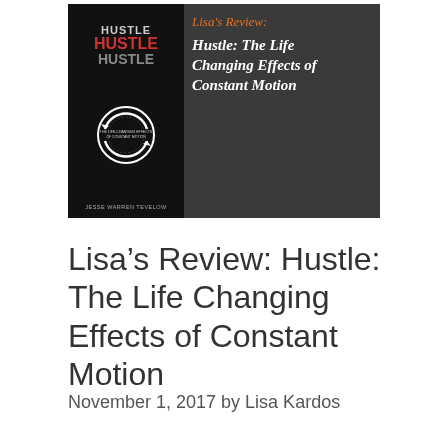[Figure (illustration): Banner image showing the book cover of 'Hustle: The Life Changing Effects of Constant Motion' by Jesse Warren Tevelow on a dark background, with script text reading 'Lisa's Review: Hustle: The Life Changing Effects of Constant Motion' in orange and white on the right side.]
Lisa’s Review: Hustle: The Life Changing Effects of Constant Motion
November 1, 2017 by Lisa Kardos